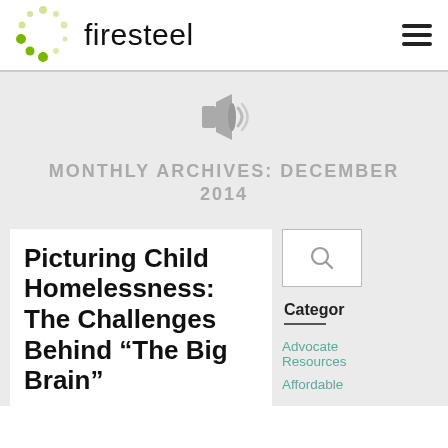firesteel
[Figure (illustration): Megaphone / loudspeaker icon in gray]
MONTHLY ARCHIVES: DECEMBER 2014
Picturing Child Homelessness: The Challenges Behind “The Big Brain”
Categor
Advocate Resources
Affordable